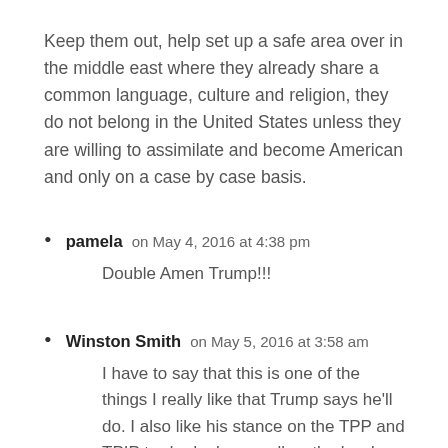Keep them out, help set up a safe area over in the middle east where they already share a common language, culture and religion, they do not belong in the United States unless they are willing to assimilate and become American and only on a case by case basis.
pamela on May 4, 2016 at 4:38 pm
Double Amen Trump!!!
Winston Smith on May 5, 2016 at 3:58 am
I have to say that this is one of the things I really like that Trump says he'll do. I also like his stance on the TPP and TPIP trade deals as well as the border wall and trade with currency manipulating nations like the PRC. I do find some things alarming though like his...